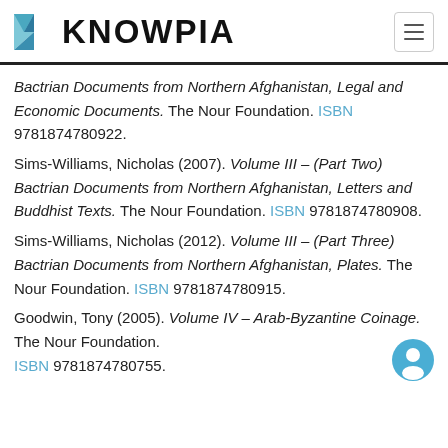KNOWPIA
Bactrian Documents from Northern Afghanistan, Legal and Economic Documents. The Nour Foundation. ISBN 9781874780922.
Sims-Williams, Nicholas (2007). Volume III – (Part Two) Bactrian Documents from Northern Afghanistan, Letters and Buddhist Texts. The Nour Foundation. ISBN 9781874780908.
Sims-Williams, Nicholas (2012). Volume III – (Part Three) Bactrian Documents from Northern Afghanistan, Plates. The Nour Foundation. ISBN 9781874780915.
Goodwin, Tony (2005). Volume IV – Arab-Byzantine Coinage. The Nour Foundation. ISBN 9781874780755.